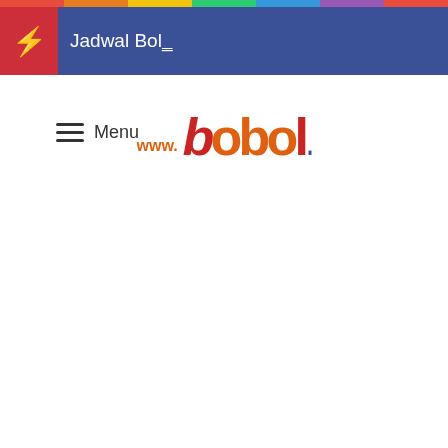Jadwal Bol…
[Figure (logo): www.bobol.in logo with orange and red lettering]
Menu